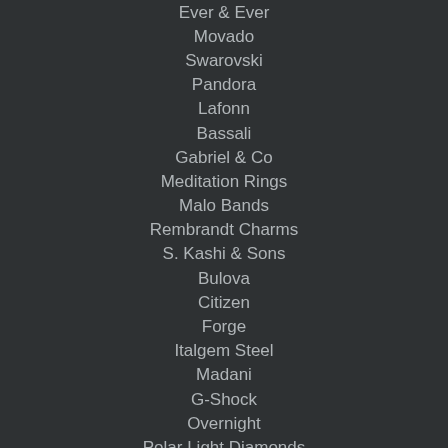Ever & Ever
Movado
Swarovski
Pandora
Lafonn
Bassali
Gabriel & Co
Meditation Rings
Malo Bands
Rembrandt Charms
S. Kashi & Sons
Bulova
Citizen
Forge
Italgem Steel
Madani
G-Shock
Overnight
Polar Light Diamonds
Tantalum
24K Rose
Ammara Stone